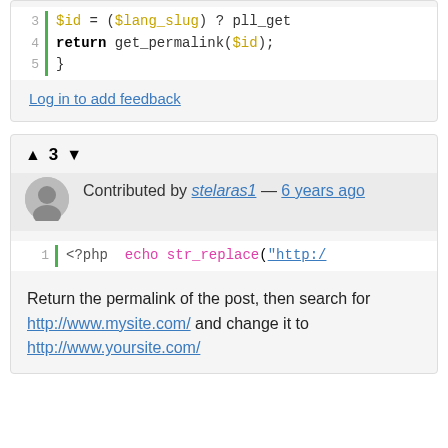[Figure (screenshot): Code snippet showing PHP lines 3-5: $id = ($lang_slug) ? pll_get..., return get_permalink($id);, closing brace]
Log in to add feedback
▲ 3 ▼
Contributed by stelaras1 — 6 years ago
[Figure (screenshot): Code line 1: <?php echo str_replace("http:/...]
Return the permalink of the post, then search for http://www.mysite.com/ and change it to http://www.yoursite.com/